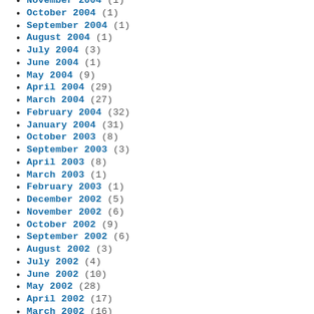November 2004 (1)
October 2004 (1)
September 2004 (1)
August 2004 (1)
July 2004 (3)
June 2004 (1)
May 2004 (9)
April 2004 (29)
March 2004 (27)
February 2004 (32)
January 2004 (31)
October 2003 (8)
September 2003 (3)
April 2003 (8)
March 2003 (1)
February 2003 (1)
December 2002 (5)
November 2002 (6)
October 2002 (9)
September 2002 (6)
August 2002 (3)
July 2002 (4)
June 2002 (10)
May 2002 (28)
April 2002 (17)
March 2002 (16)